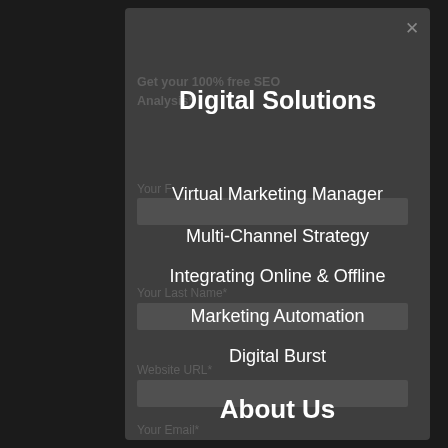[Figure (screenshot): Dark modal overlay on a dark background showing a website navigation menu with Digital Solutions and About Us sections, overlaid on a form with fields for name, website URL, email, and phone number.]
Digital Solutions
Virtual Marketing Manager
Multi-Channel Strategy
Integrating Online & Offline
Marketing Automation
Digital Burst
About Us
Our Team
Core Values
Contact Us
Privacy Policy